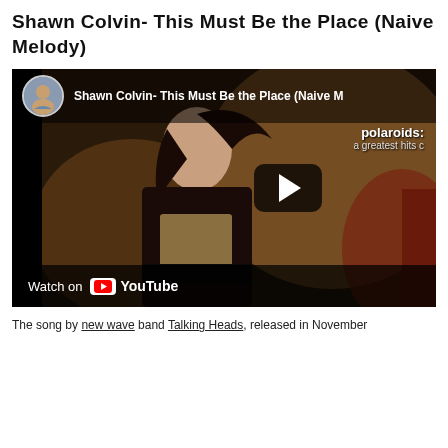Shawn Colvin- This Must Be the Place (Naive Melody)
[Figure (screenshot): YouTube video thumbnail for Shawn Colvin - This Must Be the Place (Naive Melody). Shows a woman in dark clothing against a warm brown background. Top bar shows channel avatar and video title. Right side shows album text 'polaroids: a greatest hits c'. Center-right has a play button. Bottom bar shows 'Watch on YouTube' logo.]
The song by new wave band Talking Heads, released in November